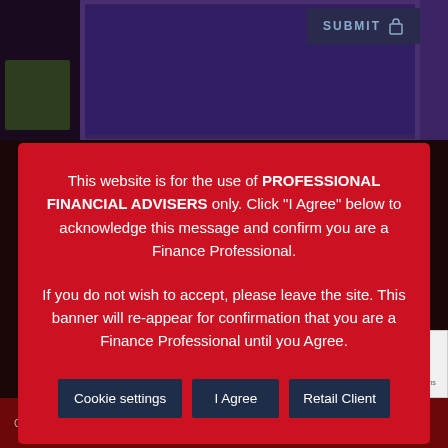[Figure (screenshot): Dark purple background with a watch/jewelry image, and a dark blue SUBMIT button with lock icon in the top right]
This website is for the use of PROFESSIONAL FINANCIAL ADVISERS only. Click "I Agree" below to acknowledge this message and confirm you are a Finance Professional.
If you do not wish to accept, please leave the site. This banner will re-appear for confirmation that you are a Finance Professional until you Agree.
Cookie settings | I Agree | Retail Client
Contact Us
Copyright 2020 by Tavistock Partners Limited | Managed and hos...